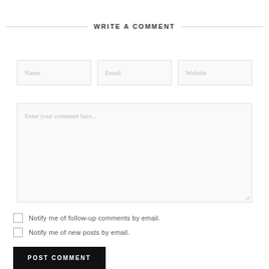WRITE A COMMENT
[Figure (screenshot): Comment form with Name, Email, Website input fields, a large textarea with placeholder 'Enter your comment here..', two checkboxes for email notifications, and a POST COMMENT button]
Notify me of follow-up comments by email.
Notify me of new posts by email.
POST COMMENT